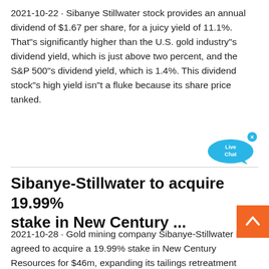2021-10-22 · Sibanye Stillwater stock provides an annual dividend of $1.67 per share, for a juicy yield of 11.1%. That"s significantly higher than the U.S. gold industry"s dividend yield, which is just above two percent, and the S&P 500"s dividend yield, which is 1.4%. This dividend stock"s high yield isn"t a fluke because its share price tanked.
[Figure (illustration): Live Chat speech bubble icon in blue/cyan color with 'Live Chat' text and a small x close button]
Sibanye-Stillwater to acquire 19.99% stake in New Century ...
2021-10-28 · Gold mining company Sibanye-Stillwater has agreed to acquire a 19.99% stake in New Century Resources for $46m, expanding its tailings retreatment exposure in Australia. The investment will be made through a subscription for newly issued New Century ordinary shares by Sibanye-Stillwater for a maximum cash consideration of
[Figure (illustration): Orange back-to-top button with upward chevron arrow in white]